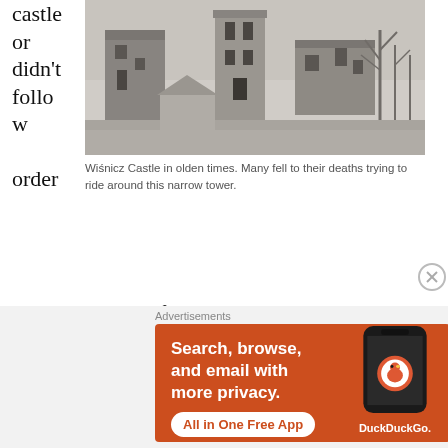castle or didn't follow orders
[Figure (photo): Black and white photo of Wiśnicz Castle in olden times, showing a ruined stone castle with a narrow tower and a small shed, bare trees in background.]
Wiśnicz Castle in olden times. Many fell to their deaths trying to ride around this narrow tower.
s, Bona would inflict a cruel punishment on them. She would bring the person to be punished atop the narrow tower and force him to watch her ride around it three times. She would then command the victim to do the same. However, a different horse would be brought in, one that had been fed alcohol. The victim would get on the drunken horse and
Advertisements
[Figure (screenshot): DuckDuckGo advertisement banner with orange background. Text: 'Search, browse, and email with more privacy. All in One Free App'. Shows a phone mockup with DuckDuckGo logo.]